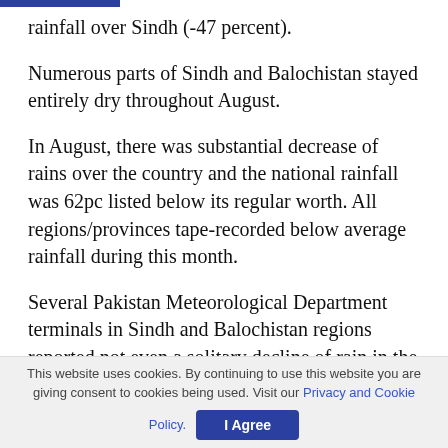rainfall over Sindh (-47 percent).
Numerous parts of Sindh and Balochistan stayed entirely dry throughout August.
In August, there was substantial decrease of rains over the country and the national rainfall was 62pc listed below its regular worth. All regions/provinces tape-recorded below average rainfall during this month.
Several Pakistan Meteorological Department terminals in Sindh and Balochistan regions reported not even a solitary decline of rain in the entire month.
This website uses cookies. By continuing to use this website you are giving consent to cookies being used. Visit our Privacy and Cookie Policy.  I Agree